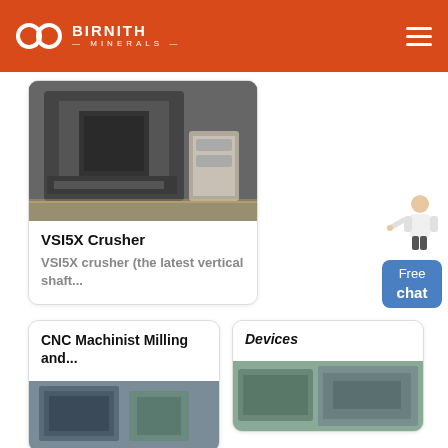BIRNITH MINERALS
[Figure (photo): VSI5X Crusher machine in industrial setting]
VSI5X Crusher
VSI5X crusher (the latest vertical shaft...
[Figure (illustration): Customer service representative with Free chat button]
CNC Machinist Milling and...
[Figure (photo): CNC machining equipment]
Devices
[Figure (photo): Devices equipment photo]